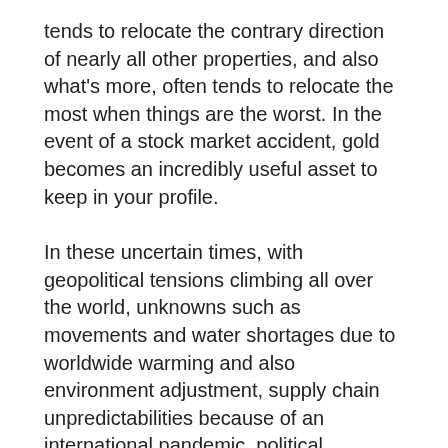tends to relocate the contrary direction of nearly all other properties, and also what's more, often tends to relocate the most when things are the worst. In the event of a stock market accident, gold becomes an incredibly useful asset to keep in your profile.
In these uncertain times, with geopolitical tensions climbing all over the world, unknowns such as movements and water shortages due to worldwide warming and also environment adjustment, supply chain unpredictabilities because of an international pandemic, political instability, and worries of an overvalued securities market, gold is merely the best to hedge versus every one of these dangers.